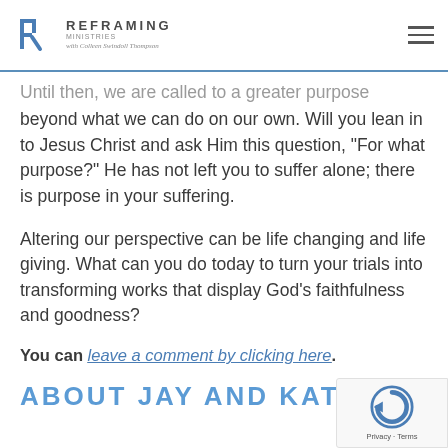REFRAMING MINISTRIES with Colleen Swindoll Thompson
Until then, we are called to a greater purpose beyond what we can do on our own. Will you lean in to Jesus Christ and ask Him this question, “For what purpose?” He has not left you to suffer alone; there is purpose in your suffering.
Altering our perspective can be life changing and life giving. What can you do today to turn your trials into transforming works that display God’s faithfulness and goodness?
You can leave a comment by clicking here.
ABOUT JAY AND KATHERINE